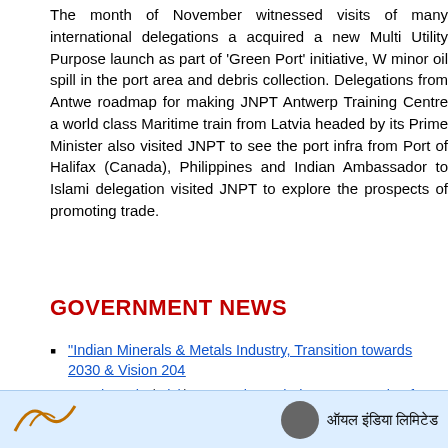The month of November witnessed visits of many international delegations a... acquired a new Multi Utility Purpose launch as part of 'Green Port' initiative, W... minor oil spill in the port area and debris collection. Delegations from Antwe... roadmap for making JNPT Antwerp Training Centre a world class Maritime train... from Latvia headed by its Prime Minister also visited JNPT to see the port infra... from Port of Halifax (Canada), Philippines and Indian Ambassador to Islami... delegation visited JNPT to explore the prospects of promoting trade.
GOVERNMENT NEWS
"Indian Minerals & Metals Industry, Transition towards 2030 & Vision 204...
BSE launches ticker at Navi Mumbai's APMC Market for dry fruits 08/24/2...
Ms.Vartika Shukla, CMD, EIL, addresses, Project Managers Global Summ...
LIC GIVES A UNIQUE OPPORTUNITY TO REVIVE THEIR LAPSED PO...
NHDC celebrated Independence Day at Corporate Office 08/17/2022
Comments are closed.
[Figure (logo): Footer bar with two logos: a stylized italic logo on the left and Oil India Limited logo with Hindi text 'ऑयल इंडिया लिमिटेड' on the right]